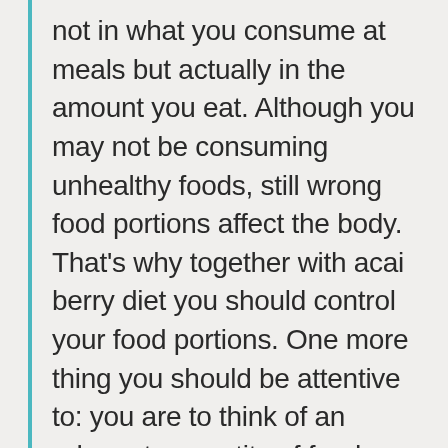not in what you consume at meals but actually in the amount you eat. Although you may not be consuming unhealthy foods, still wrong food portions affect the body. That's why together with acai berry diet you should control your food portions. One more thing you should be attentive to: you are to think of an adequate quantity of food when you consider what to eat following acai berry diet plan.